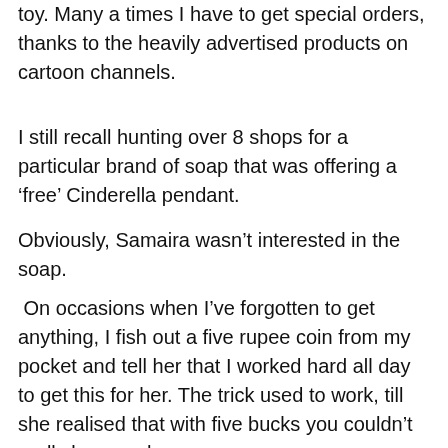toy. Many a times I have to get special orders, thanks to the heavily advertised products on cartoon channels.
I still recall hunting over 8 shops for a particular brand of soap that was offering a ‘free’ Cinderella pendant.
Obviously, Samaira wasn’t interested in the soap.
On occasions when I’ve forgotten to get anything, I fish out a five rupee coin from my pocket and tell her that I worked hard all day to get this for her. The trick used to work, till she realised that with five bucks you couldn’t really buy much.
I think I went too far on one instance when I cusped both my palms together and told her I got some fresh air from the A/C of my office. Sadly, that one didn’t